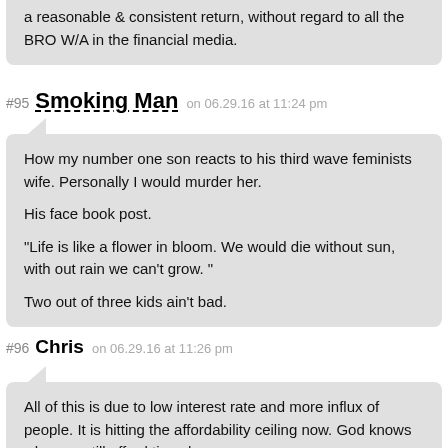a reasonable & consistent return, without regard to all the BRO W/A in the financial media.
#95 Smoking Man on 06.29.16 at 11:24 pm
How my number one son reacts to his third wave feminists wife. Personally I would murder her.

His face book post.

"Life is like a flower in bloom. We would die without sun, with out rain we can't grow. "

Two out of three kids ain't bad.
#96 Chris on 06.29.16 at 11:26 pm
All of this is due to low interest rate and more influx of people. It is hitting the affordability ceiling now. God knows who can still afford tjese houses.